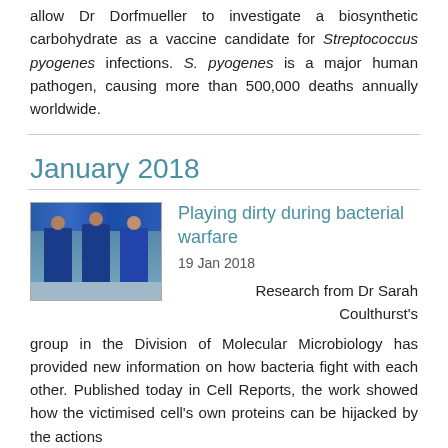allow Dr Dorfmueller to investigate a biosynthetic carbohydrate as a vaccine candidate for Streptococcus pyogenes infections. S. pyogenes is a major human pathogen, causing more than 500,000 deaths annually worldwide.
January 2018
[Figure (photo): Three women in blue lab coats standing in a laboratory]
Playing dirty during bacterial warfare
19 Jan 2018
Research from Dr Sarah Coulthurst's group in the Division of Molecular Microbiology has provided new information on how bacteria fight with each other. Published today in Cell Reports, the work showed how the victimised cell's own proteins can be hijacked by the actions